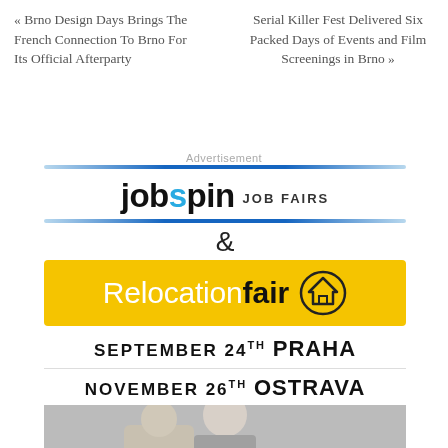« Brno Design Days Brings The French Connection To Brno For Its Official Afterparty
Serial Killer Fest Delivered Six Packed Days of Events and Film Screenings in Brno »
Advertisement
[Figure (infographic): Jobspin Job Fairs & Relocation Fair advertisement banner. Jobspin logo in black with blue 's', 'JOB FAIRS' label. Yellow bar with 'Relocationfair' and house icon. Dates: September 24th Praha, November 26th Ostrava. Photo of man in suit at bottom.]